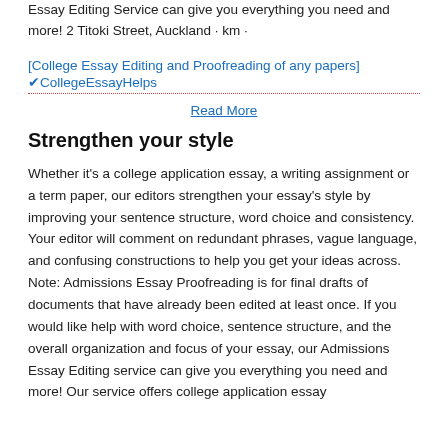Essay Editing Service can give you everything you need and more! 2 Titoki Street, Auckland · km ·
[Figure (other): Image placeholder for College Essay Editing and Proofreading of any papers, shown as broken image icon with alt text]
✓CollegeEssayHelps
Read More
Strengthen your style
Whether it's a college application essay, a writing assignment or a term paper, our editors strengthen your essay's style by improving your sentence structure, word choice and consistency. Your editor will comment on redundant phrases, vague language, and confusing constructions to help you get your ideas across. Note: Admissions Essay Proofreading is for final drafts of documents that have already been edited at least once. If you would like help with word choice, sentence structure, and the overall organization and focus of your essay, our Admissions Essay Editing service can give you everything you need and more! Our service offers college application essay